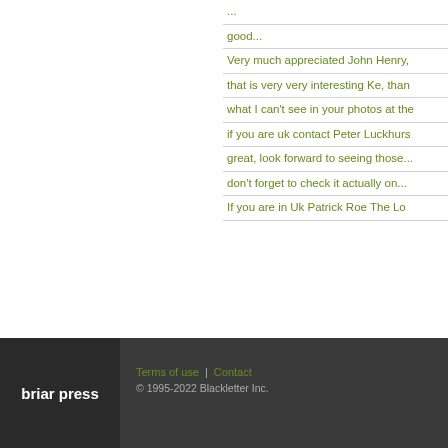...
good...
Very much appreciated John Henry,
that is very very interesting Ke, than
what I can't see in your photos at the
if you are uk contact Peter Luckhurs
great, look forward to seeing those...
don't forget to check it actually on...
If you are in Uk Patrick Roe The Lo
briar press
Terms of use | Contact
© 1995-2022 Blackletter Inc.